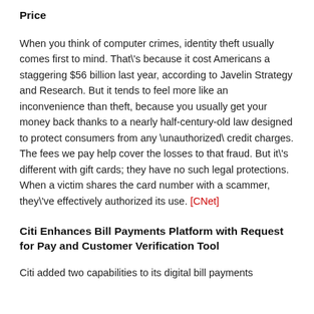Price
When you think of computer crimes, identity theft usually comes first to mind. That\'s because it cost Americans a staggering $56 billion last year, according to Javelin Strategy and Research. But it tends to feel more like an inconvenience than theft, because you usually get your money back thanks to a nearly half-century-old law designed to protect consumers from any \unauthorized\ credit charges. The fees we pay help cover the losses to that fraud. But it\'s different with gift cards; they have no such legal protections. When a victim shares the card number with a scammer, they\'ve effectively authorized its use. [CNet]
Citi Enhances Bill Payments Platform with Request for Pay and Customer Verification Tool
Citi added two capabilities to its digital bill payments